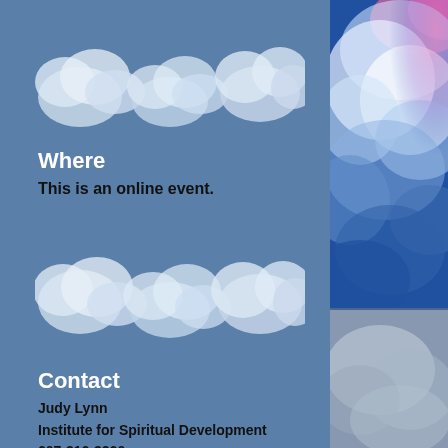[Figure (photo): Stylized cloud image strip at top of left panel, white clouds on blue background]
[Figure (photo): Colorful dramatic cloud photo with blue, purple, and pink tones on right panel]
Where
This is an online event.
[Figure (photo): Stylized cloud image strip at bottom of left panel, white clouds on blue background]
Contact
Judy Lynn
Institute for Spiritual Development
607-316-3260
jlspiritualadvisor@gmail.com
[Figure (photo): Grey-blue cloud photo at bottom right panel]